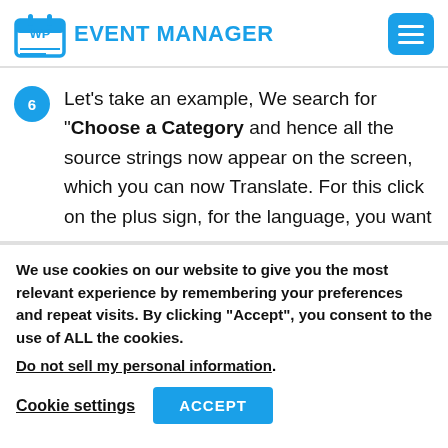WP EVENT MANAGER
6 Let's take an example, We search for "Choose a Category and hence all the source strings now appear on the screen, which you can now Translate. For this click on the plus sign, for the language, you want
We use cookies on our website to give you the most relevant experience by remembering your preferences and repeat visits. By clicking "Accept", you consent to the use of ALL the cookies. Do not sell my personal information.
Cookie settings ACCEPT